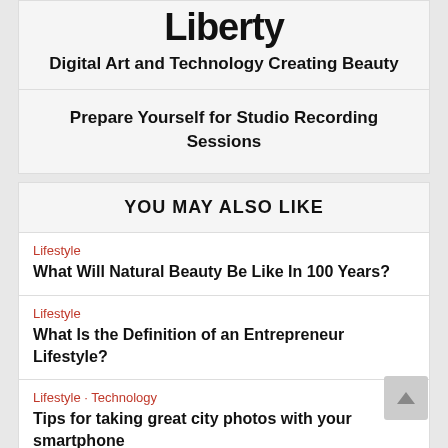Liberty
Digital Art and Technology Creating Beauty
Prepare Yourself for Studio Recording Sessions
YOU MAY ALSO LIKE
Lifestyle
What Will Natural Beauty Be Like In 100 Years?
Lifestyle
What Is the Definition of an Entrepreneur Lifestyle?
Lifestyle · Technology
Tips for taking great city photos with your smartphone
Technology